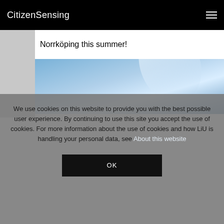CitizenSensing
Norrköping this summer!
[Figure (photo): Blue sky/abstract blue background image]
We use cookies on this website to provide you with the best possible user experience. By continuing to use this site you accept the use of cookies. For more information about the use of cookies and how LiU is handling your personal data, see About this website
OK